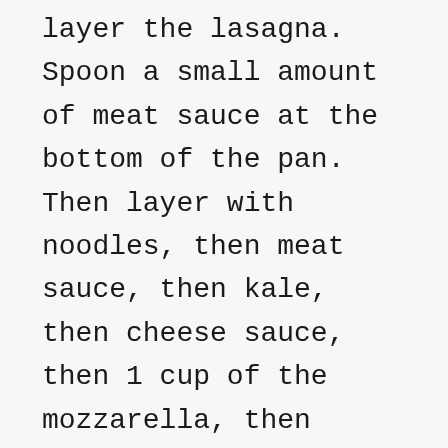layer the lasagna. Spoon a small amount of meat sauce at the bottom of the pan. Then layer with noodles, then meat sauce, then kale, then cheese sauce, then 1 cup of the mozzarella, then noodles, then cheese sauce, the remaining mozzarella, the remaining meat sauce, and lastly with the cup of Italian cheeses. Make sure to carefully spread out each layer before moving on the to next.
7. You can cook this now or store